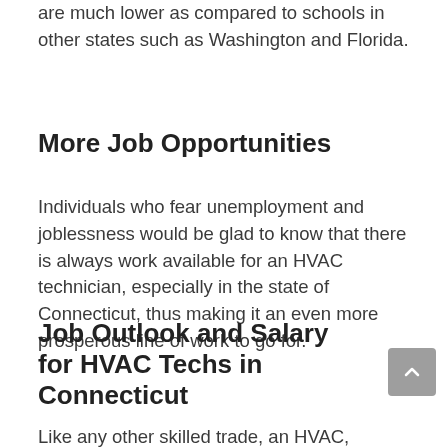are much lower as compared to schools in other states such as Washington and Florida.
More Job Opportunities
Individuals who fear unemployment and joblessness would be glad to know that there is always work available for an HVAC technician, especially in the state of Connecticut, thus making it an even more prosperous line of work to go for.
Job Outlook and Salary for HVAC Techs in Connecticut
Like any other skilled trade, an HVAC,